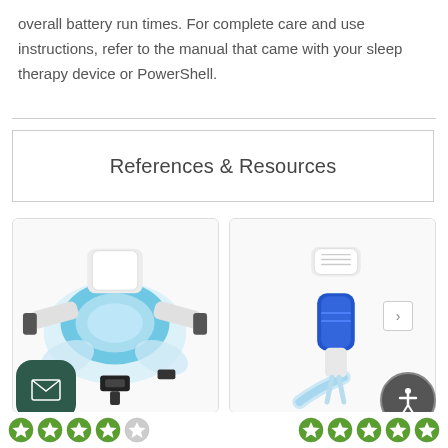overall battery run times. For complete care and use instructions, refer to the manual that came with your sleep therapy device or PowerShell.
References & Resources
[Figure (photo): CPAP nasal mask component with blue cushion, headgear clips, and black buckle straps, shown from above on white background]
[Figure (photo): Medical nasal cannula or tubing connector with blue and white plastic connector piece, clear flexible tubing on white background]